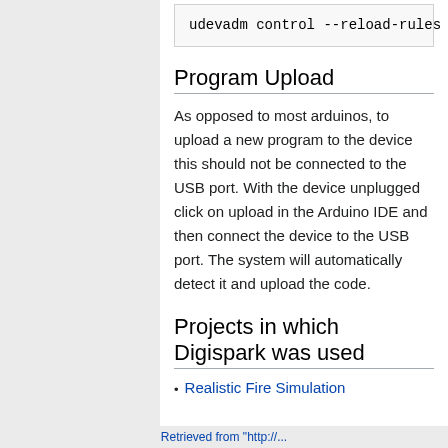Program Upload
As opposed to most arduinos, to upload a new program to the device this should not be connected to the USB port. With the device unplugged click on upload in the Arduino IDE and then connect the device to the USB port. The system will automatically detect it and upload the code.
Projects in which Digispark was used
Realistic Fire Simulation